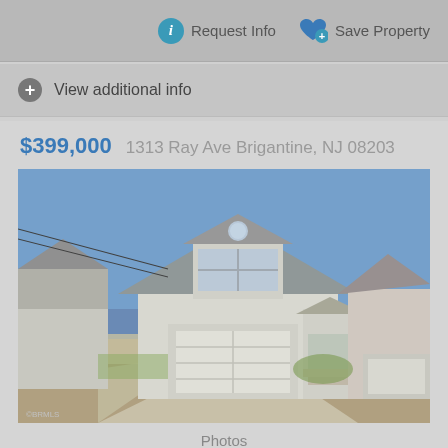Request Info
Save Property
View additional info
$399,000  1313 Ray Ave Brigantine, NJ 08203
[Figure (photo): Exterior photo of a two-story white colonial-style house with attached two-car garage, concrete driveway, and blue sky background at 1313 Ray Ave Brigantine NJ]
Photos
Beds: 3   Baths: 2.00